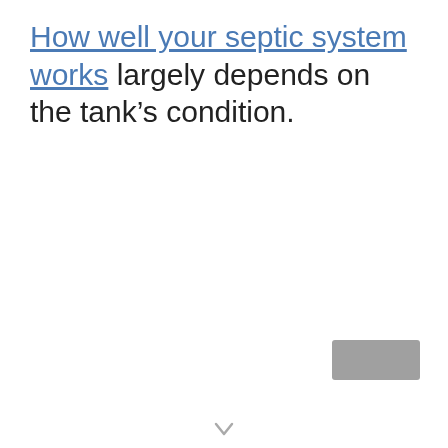How well your septic system works largely depends on the tank's condition.